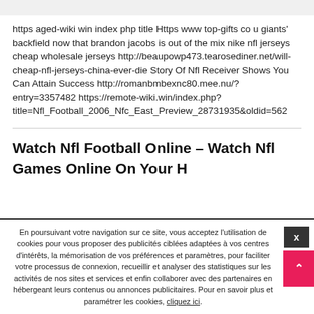https aged-wiki win index php title Https www top-gifts co u giants' backfield now that brandon jacobs is out of the mix nike nfl jerseys cheap wholesale jerseys http://beaupowp473.tearosediner.net/will-cheap-nfl-jerseys-china-ever-die Story Of Nfl Receiver Shows You Can Attain Success http://romanbmbexnc80.mee.nu/?entry=3357482 https://remote-wiki.win/index.php?title=Nfl_Football_2006_Nfc_East_Preview_28731935&oldid=562
Watch Nfl Football Online – Watch Nfl Games Online On Your H
En poursuivant votre navigation sur ce site, vous acceptez l'utilisation de cookies pour vous proposer des publicités ciblées adaptées à vos centres d'intérêts, la mémorisation de vos préférences et paramètres, pour faciliter votre processus de connexion, recueillir et analyser des statistiques sur les activités de nos sites et services et enfin collaborer avec des partenaires en hébergeant leurs contenus ou annonces publicitaires. Pour en savoir plus et paramétrer les cookies, cliquez ici.